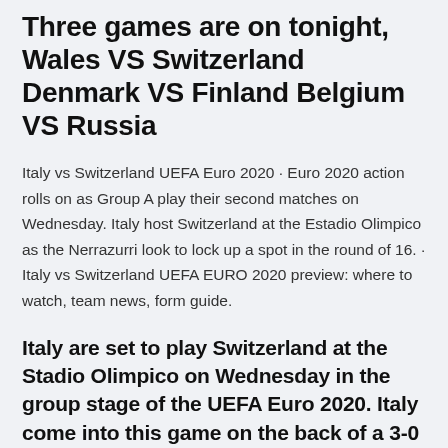Three games are on tonight, Wales VS Switzerland Denmark VS Finland Belgium VS Russia
Italy vs Switzerland UEFA Euro 2020 · Euro 2020 action rolls on as Group A play their second matches on Wednesday. Italy host Switzerland at the Estadio Olimpico as the Nerrazurri look to lock up a spot in the round of 16. · Italy vs Switzerland UEFA EURO 2020 preview: where to watch, team news, form guide.
Italy are set to play Switzerland at the Stadio Olimpico on Wednesday in the group stage of the UEFA Euro 2020. Italy come into this game on the back of a 3-0 win over Senol Gunes' Turkey on